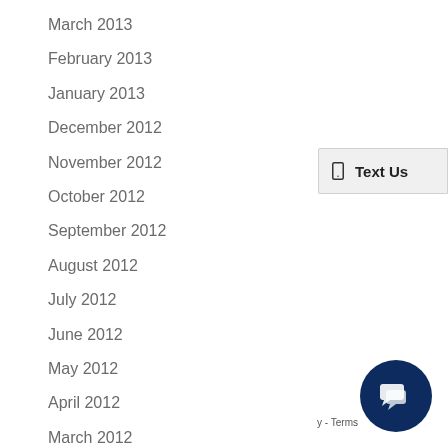March 2013
February 2013
January 2013
December 2012
November 2012
October 2012
September 2012
August 2012
July 2012
June 2012
May 2012
April 2012
March 2012
February 2012
[Figure (screenshot): Text Us button with phone icon in upper right area]
[Figure (illustration): Dark navy blue circular chat widget icon in bottom right corner]